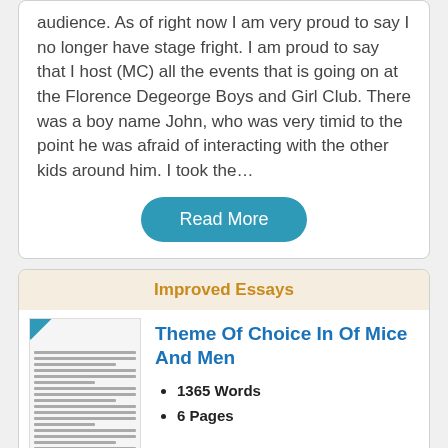audience. As of right now I am very proud to say I no longer have stage fright. I am proud to say that I host (MC) all the events that is going on at the Florence Degeorge Boys and Girl Club. There was a boy name John, who was very timid to the point he was afraid of interacting with the other kids around him. I took the…
Read More
Improved Essays
Theme Of Choice In Of Mice And Men
1365 Words
6 Pages